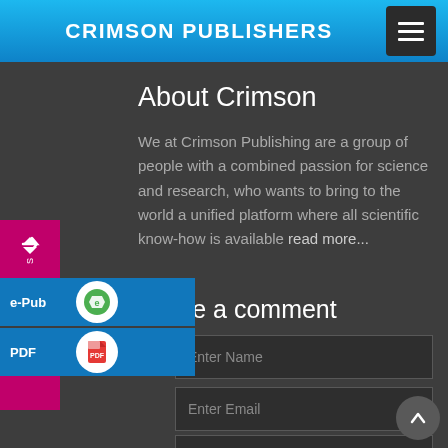CRIMSON PUBLISHERS
About Crimson
We at Crimson Publishing are a group of people with a combined passion for science and research, who wants to bring to the world a unified platform where all scientific know-how is available read more...
Leave a comment
Enter Name
Enter Email
Enter Subject